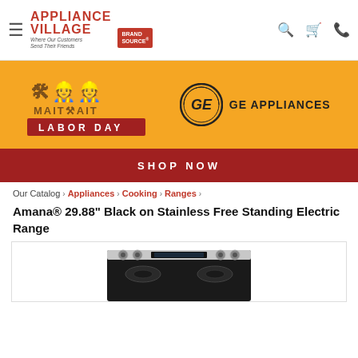Appliance Village — Where Our Customers Send Their Friends | Brand Source
[Figure (infographic): Labor Day sale banner with GE Appliances logo on orange background with Shop Now button]
Our Catalog › Appliances › Cooking › Ranges ›
Amana® 29.88" Black on Stainless Free Standing Electric Range
[Figure (photo): Amana black on stainless free standing electric range product photo, top portion visible showing control panel and burners]